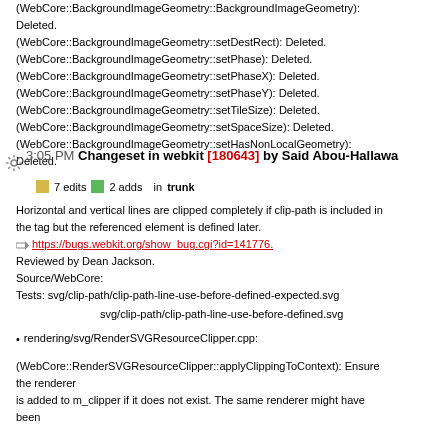(WebCore::BackgroundImageGeometry::BackgroundImageGeometry): Deleted.
(WebCore::BackgroundImageGeometry::setDestRect): Deleted.
(WebCore::BackgroundImageGeometry::setPhase): Deleted.
(WebCore::BackgroundImageGeometry::setPhaseX): Deleted.
(WebCore::BackgroundImageGeometry::setPhaseY): Deleted.
(WebCore::BackgroundImageGeometry::setTileSize): Deleted.
(WebCore::BackgroundImageGeometry::setSpaceSize): Deleted.
(WebCore::BackgroundImageGeometry::setHasNonLocalGeometry): Deleted.
3:05 PM Changeset in webkit [180643] by Said Abou-Hallawa
7 edits   2 adds   in trunk
Horizontal and vertical lines are clipped completely if clip-path is included in the tag but the referenced element is defined later.
=> https://bugs.webkit.org/show_bug.cgi?id=141776.
Reviewed by Dean Jackson.
Source/WebCore:
Tests: svg/clip-path/clip-path-line-use-before-defined-expected.svg
       svg/clip-path/clip-path-line-use-before-defined.svg
rendering/svg/RenderSVGResourceClipper.cpp:
(WebCore::RenderSVGResourceClipper::applyClippingToContext): Ensure the renderer is added to m_clipper if it does not exist. The same renderer might have been